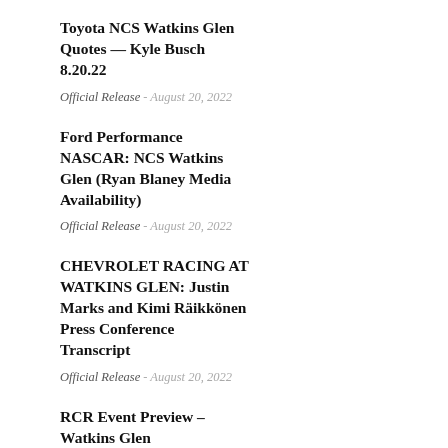Toyota NCS Watkins Glen Quotes — Kyle Busch 8.20.22
Official Release - August 20, 2022
Ford Performance NASCAR: NCS Watkins Glen (Ryan Blaney Media Availability)
Official Release - August 20, 2022
CHEVROLET RACING AT WATKINS GLEN: Justin Marks and Kimi Räikkönen Press Conference Transcript
Official Release - August 20, 2022
RCR Event Preview – Watkins Glen
Official Release - August 20, 2022